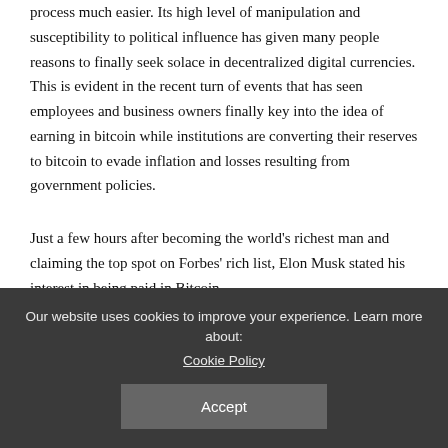The state of the global financial system has made the transition process much easier. Its high level of manipulation and susceptibility to political influence has given many people reasons to finally seek solace in decentralized digital currencies. This is evident in the recent turn of events that has seen employees and business owners finally key into the idea of earning in bitcoin while institutions are converting their reserves to bitcoin to evade inflation and losses resulting from government policies.
Just a few hours after becoming the world's richest man and claiming the top spot on Forbes' rich list, Elon Musk stated his interest in being paid in Bitcoin.
Our website uses cookies to improve your experience. Learn more about: Cookie Policy Accept